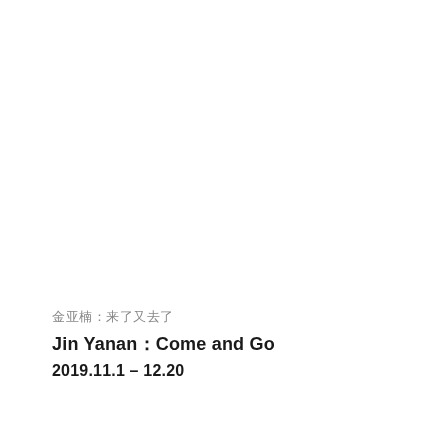金亚楠：来了又去了
Jin Yanan：Come and Go
2019.11.1 – 12.20